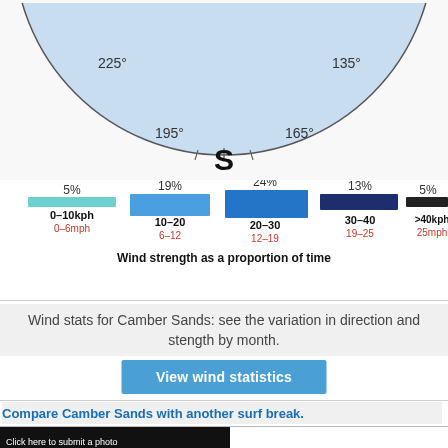[Figure (other): Wind rose diagram showing wind directions around a compass, partially visible (bottom portion). Shows 225°, 195°, S, 165°, 135° labels. Light blue filled area indicating predominant wind direction from the south.]
[Figure (bar-chart): Wind strength as a proportion of time]
Wind stats for Camber Sands: see the variation in direction and stength by month.
View wind statistics
Compare Camber Sands with another surf break.
[Figure (other): Black background image placeholder with yellow bold text: 'WE NEED AN IMAGE FOR THIS SURF BREAK!' and white text 'Click here to submit a photo']